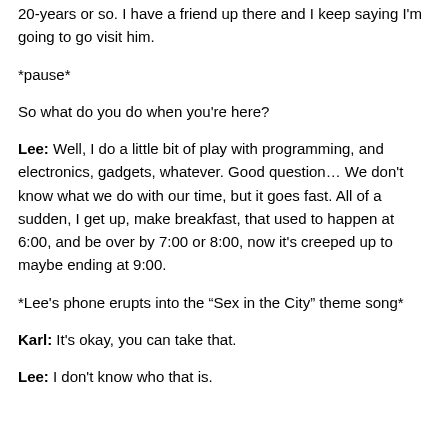20-years or so. I have a friend up there and I keep saying I'm going to go visit him.
*pause*
So what do you do when you're here?
Lee: Well, I do a little bit of play with programming, and electronics, gadgets, whatever. Good question… We don't know what we do with our time, but it goes fast. All of a sudden, I get up, make breakfast, that used to happen at 6:00, and be over by 7:00 or 8:00, now it's creeped up to maybe ending at 9:00.
*Lee's phone erupts into the "Sex in the City" theme song*
Karl: It's okay, you can take that.
Lee: I don't know who that is.